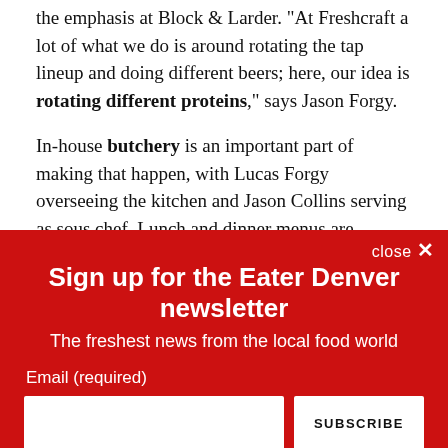the emphasis at Block & Larder. "At Freshcraft a lot of what we do is around rotating the tap lineup and doing different beers; here, our idea is rotating different proteins," says Jason Forgy.
In-house butchery is an important part of making that happen, with Lucas Forgy overseeing the kitchen and Jason Collins serving as sous chef. Lunch and dinner menus are
Sign up for the Eater Denver newsletter
The freshest news from the local food world
Email (required)
By submitting your email, you agree to our Terms and Privacy Notice. You can opt out at any time. This site is protected by reCAPTCHA and the Google Privacy Policy and Terms of Service apply.